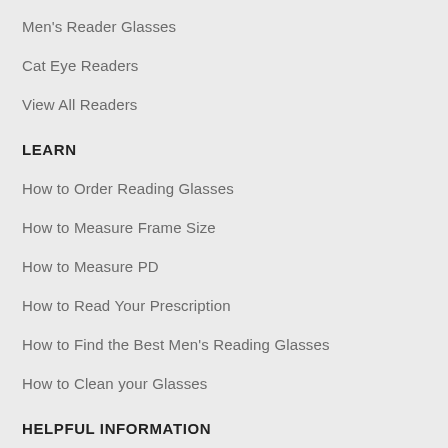Men's Reader Glasses
Cat Eye Readers
View All Readers
LEARN
How to Order Reading Glasses
How to Measure Frame Size
How to Measure PD
How to Read Your Prescription
How to Find the Best Men's Reading Glasses
How to Clean your Glasses
HELPFUL INFORMATION